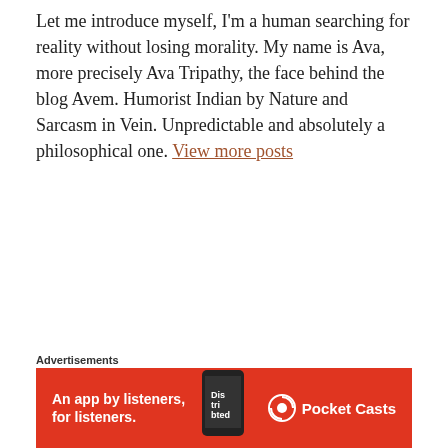Let me introduce myself, I'm a human searching for reality without losing morality. My name is Ava, more precisely Ava Tripathy, the face behind the blog Avem. Humorist Indian by Nature and Sarcasm in Vein. Unpredictable and absolutely a philosophical one. View more posts
Previous Post
Stay Home🏠Stay Positive✨
Next Post
Advertisements
[Figure (other): Red advertisement banner for Pocket Casts app: 'An app by listeners, for listeners.' with phone image and Pocket Casts logo]